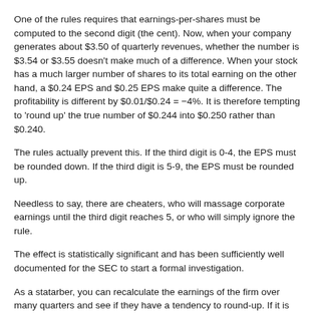One of the rules requires that earnings-per-shares must be computed to the second digit (the cent). Now, when your company generates about $3.50 of quarterly revenues, whether the number is $3.54 or $3.55 doesn't make much of a difference. When your stock has a much larger number of shares to its total earning on the other hand, a $0.24 EPS and $0.25 EPS make quite a difference. The profitability is different by $0.01/$0.24 = −4%. It is therefore tempting to 'round up' the true number of $0.244 into $0.250 rather than $0.240.
The rules actually prevent this. If the third digit is 0-4, the EPS must be rounded down. If the third digit is 5-9, the EPS must be rounded up.
Needless to say, there are cheaters, who will massage corporate earnings until the third digit reaches 5, or who will simply ignore the rule.
The effect is statistically significant and has been sufficiently well documented for the SEC to start a formal investigation.
As a statarber, you can recalculate the earnings of the firm over many quarters and see if they have a tendency to round-up. If it is the case, you have demonstrated that the firm's management is of dubious quality, and it is well known that shares of dubious management underperform over the long-term (think of Enron). You can therefore take this quadrophobia as a signal to construct a portfolio.